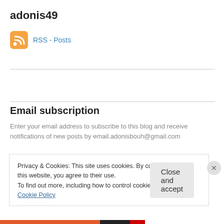adonis49
[Figure (logo): RSS feed icon (orange rounded square with white wifi/signal arcs) followed by blue link text 'RSS - Posts']
Email subscription
Enter your email address to subscribe to this blog and receive notifications of new posts by email.adonisbouh@gmail.com
Privacy & Cookies: This site uses cookies. By continuing to use this website, you agree to their use.
To find out more, including how to control cookies, see here: Cookie Policy
Close and accept